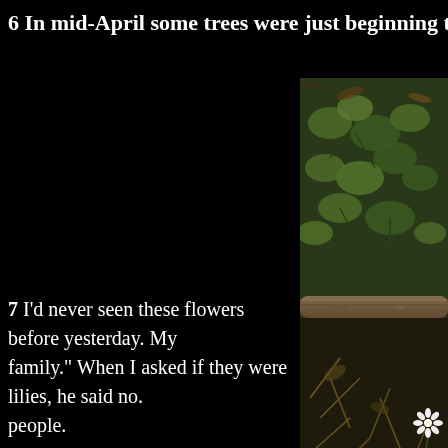6 In mid-April some trees were just beginning to le
[Figure (photo): Close-up photo of forest floor showing green leafy plants, a fallen branch/log, dried leaves and organic matter, with a small white star-shaped flower visible in the lower right area]
7 I'd never seen these flowers before yesterday. My family." When I asked if they were lilies, he said no. people.